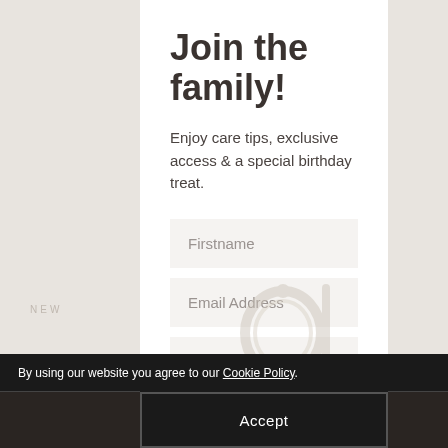Join the family!
Enjoy care tips, exclusive access & a special birthday treat.
[Figure (screenshot): Form input field with placeholder text 'Firstname']
[Figure (screenshot): Form input field with placeholder text 'Email Address']
[Figure (screenshot): Form input field with placeholder text 'Date of Birth (DD/MM/YYYY)']
By using our website you agree to our Cookie Policy.
Accept